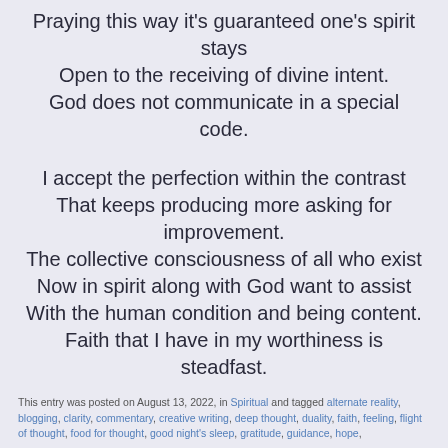Praying this way it's guaranteed one's spirit stays
Open to the receiving of divine intent.
God does not communicate in a special code.

I accept the perfection within the contrast
That keeps producing more asking for improvement.
The collective consciousness of all who exist
Now in spirit along with God want to assist
With the human condition and being content.
Faith that I have in my worthiness is steadfast.
This entry was posted on August 13, 2022, in Spiritual and tagged alternate reality, blogging, clarity, commentary, creative writing, deep thought, duality, faith, feeling, flight of thought, food for thought, good night's sleep, gratitude, guidance, hope,